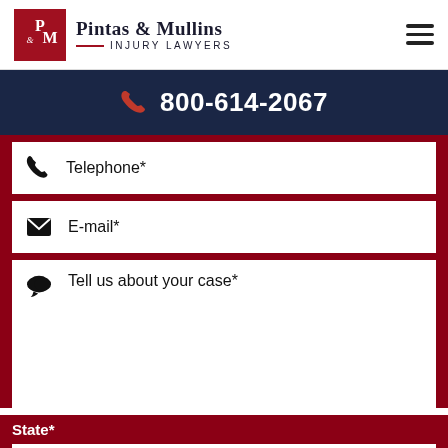Pintas & Mullins INJURY LAWYERS
800-614-2067
Telephone*
E-mail*
Tell us about your case*
State*